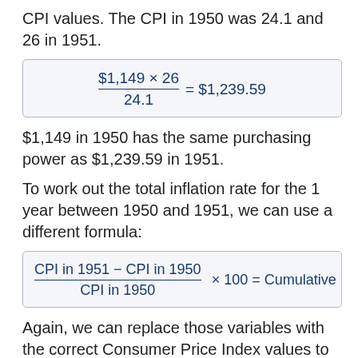CPI values. The CPI in 1950 was 24.1 and 26 in 1951.
$1,149 in 1950 has the same purchasing power as $1,239.59 in 1951.
To work out the total inflation rate for the 1 year between 1950 and 1951, we can use a different formula:
Again, we can replace those variables with the correct Consumer Price Index values to work out